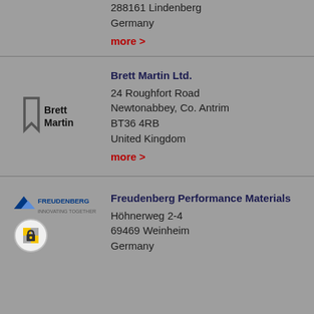288161 Lindenberg
Germany
more >
Brett Martin Ltd.
[Figure (logo): Brett Martin logo with bookmark icon and bold text 'Brett Martin']
24 Roughfort Road
Newtonabbey, Co. Antrim
BT36 4RB
United Kingdom
more >
Freudenberg Performance Materials
[Figure (logo): Freudenberg Innovating Together logo with padlock badge overlay]
Höhnerweg 2-4
69469 Weinheim
Germany